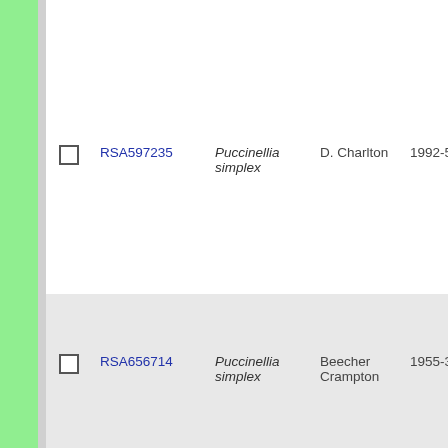|  | ID | Scientific Name | Collector | Date | Number |
| --- | --- | --- | --- | --- | --- |
| ☐ | RSA597235 | Puccinellia simplex | D. Charlton | 1992-5-15 | s.n. |
| ☐ | RSA656714 | Puccinellia simplex | Beecher Crampton | 1955-3-28 | 2346 |